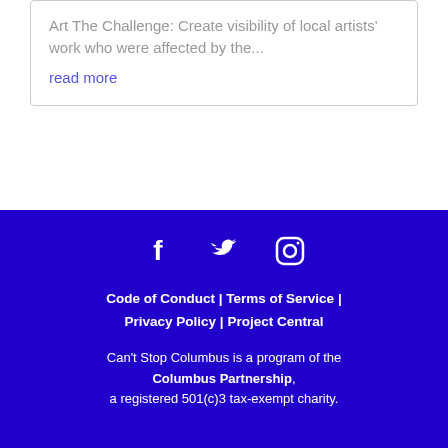Art The Challenge: Create visibility of local artists' work who were affected by the...
read more
Code of Conduct | Terms of Service | Privacy Policy | Project Central
Can't Stop Columbus is a program of the Columbus Partnership, a registered 501(c)3 tax-exempt charity.